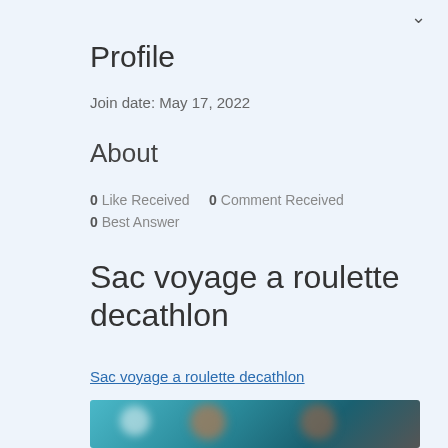Profile
Join date: May 17, 2022
About
0 Like Received   0 Comment Received
0 Best Answer
Sac voyage a roulette decathlon
Sac voyage a roulette decathlon
[Figure (photo): Blurred photo with teal/blue background and indistinct figures]